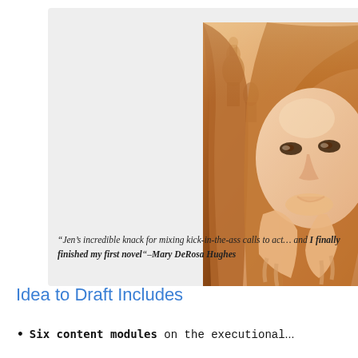[Figure (photo): A woman with long reddish-brown hair, resting her chin on her hands, looking at the camera. Warm sepia/amber toned photo. Background shows a chess piece or similar object.]
“Jen’s incredible knack for mixing kick-in-the-ass calls to act... and I finally finished my first novel”–Mary DeRosa Hughes
Idea to Draft Includes
Six content modules on the executional...